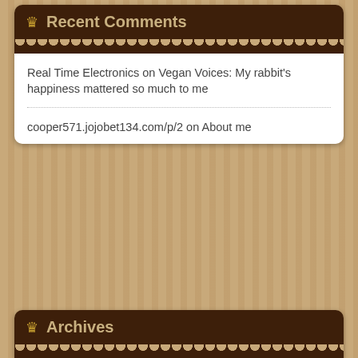Recent Comments
Real Time Electronics on Vegan Voices: My rabbit's happiness mattered so much to me
cooper571.jojobet134.com/p/2 on About me
togel dingdong on Trondheim Vegan Fair
kem trị nám thái lan on About me
Whatsapp Gb on Trondheim Vegan Fair
Archives
May 2016
April 2016